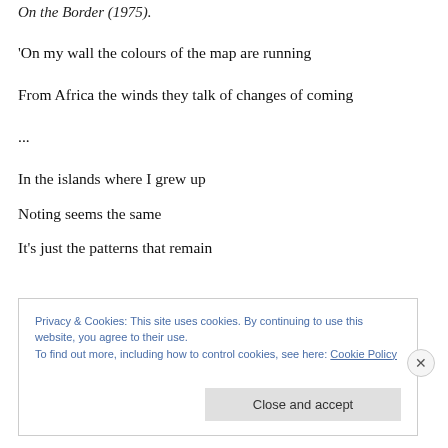On the Border (1975).
'On my wall the colours of the map are running
From Africa the winds they talk of changes of coming
...
In the islands where I grew up
Noting seems the same
It's just the patterns that remain
Privacy & Cookies: This site uses cookies. By continuing to use this website, you agree to their use. To find out more, including how to control cookies, see here: Cookie Policy
Close and accept